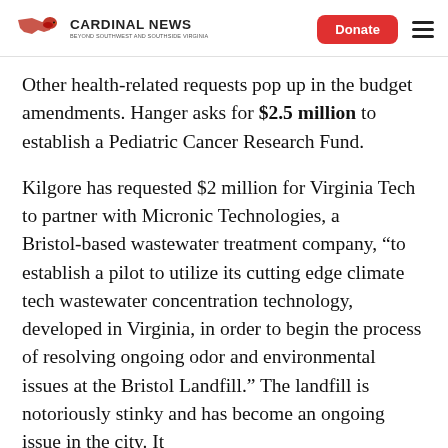CARDINAL NEWS | Donate | Menu
Other health-related requests pop up in the budget amendments. Hanger asks for $2.5 million to establish a Pediatric Cancer Research Fund.
Kilgore has requested $2 million for Virginia Tech to partner with Micronic Technologies, a Bristol-based wastewater treatment company, “to establish a pilot to utilize its cutting edge climate tech wastewater concentration technology, developed in Virginia, in order to begin the process of resolving ongoing odor and environmental issues at the Bristol Landfill.” The landfill is notoriously stinky and has become an ongoing issue in the city. It